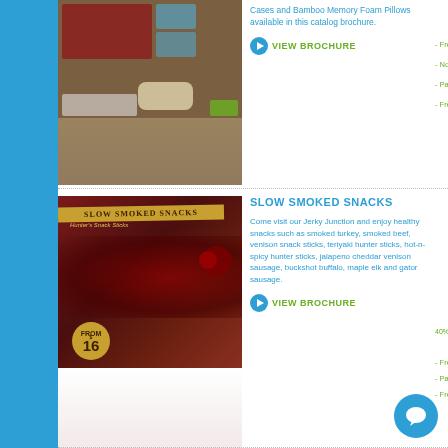[Figure (photo): Product catalog brochure image showing Bamboo Memory Foam Pillows and carrying case at top, with reflection/back-page view below]
Cases and Bamboo Memory Foam Pillows available in this catalog brochure.
VIEW BROCHURE
- Free
- No M
- Pack
- Free
SLOW SMOKED SNACKS
[Figure (photo): Slow Smoked Snacks product brochure showing jerky and dried meats with cranberries, price badge $16, with reflection below]
Come visit our Jerky Junction and enjoy healthy snacks such as smoked turkey, smoked beef, venison snack sticks, teriyaki hunter sticks, hot-n-spicy hunter sticks, jalapeno cheddar venison sausage, buckshot buffalo, maple elk and gator sausage.
VIEW BROCHURE
40% pr
- Free S
- Pack
- Free